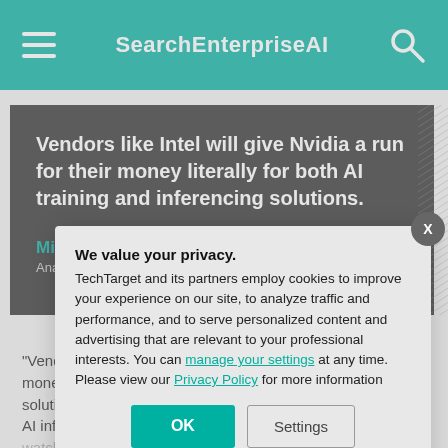SearchEnterpriseAI
Vendors like Intel will give Nvidia a run for their money literally for both AI training and inferencing solutions.
Mike Gualtieri
Analyst, Forrester
"Vendors like Intel will give Nvidia a run for their money literally for both AI training and inferencing solutions," Gualtieri said about AI infrastructure ... to see how Intel ... AI chips."
We value your privacy.
TechTarget and its partners employ cookies to improve your experience on our site, to analyze traffic and performance, and to serve personalized content and advertising that are relevant to your professional interests. You can manage your settings at any time. Please view our Privacy Policy for more information